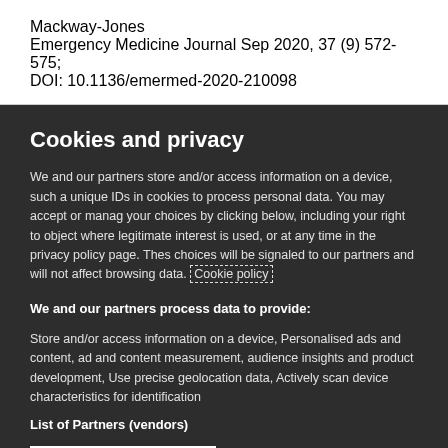Mackway-Jones
Emergency Medicine Journal Sep 2020, 37 (9) 572-575;
DOI: 10.1136/emermed-2020-210098
Cookies and privacy
We and our partners store and/or access information on a device, such a unique IDs in cookies to process personal data. You may accept or manage your choices by clicking below, including your right to object where legitimate interest is used, or at any time in the privacy policy page. These choices will be signaled to our partners and will not affect browsing data. Cookie policy
We and our partners process data to provide:
Store and/or access information on a device, Personalised ads and content, ad and content measurement, audience insights and product development, Use precise geolocation data, Actively scan device characteristics for identification
List of Partners (vendors)
I Accept